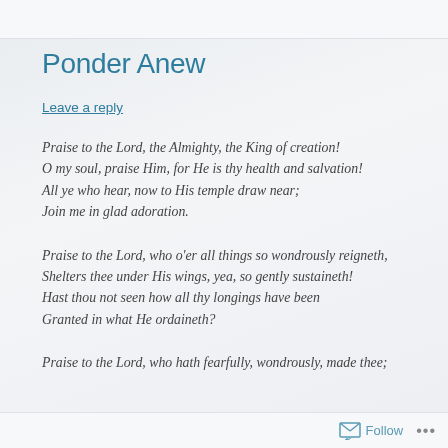Ponder Anew
Leave a reply
Praise to the Lord, the Almighty, the King of creation!
O my soul, praise Him, for He is thy health and salvation!
All ye who hear, now to His temple draw near;
Join me in glad adoration.
Praise to the Lord, who o'er all things so wondrously reigneth,
Shelters thee under His wings, yea, so gently sustaineth!
Hast thou not seen how all thy longings have been
Granted in what He ordaineth?
Praise to the Lord, who hath fearfully, wondrously, made thee;